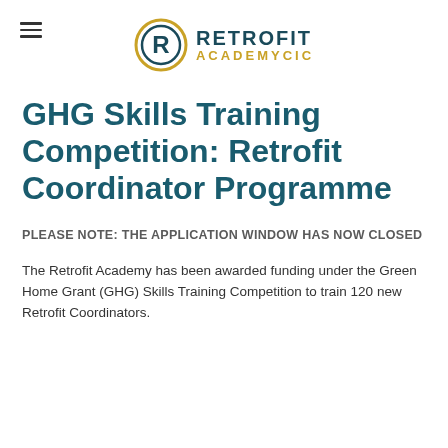RETROFIT ACADEMY CIC
GHG Skills Training Competition: Retrofit Coordinator Programme
PLEASE NOTE: THE APPLICATION WINDOW HAS NOW CLOSED
The Retrofit Academy has been awarded funding under the Green Home Grant (GHG) Skills Training Competition to train 120 new Retrofit Coordinators.